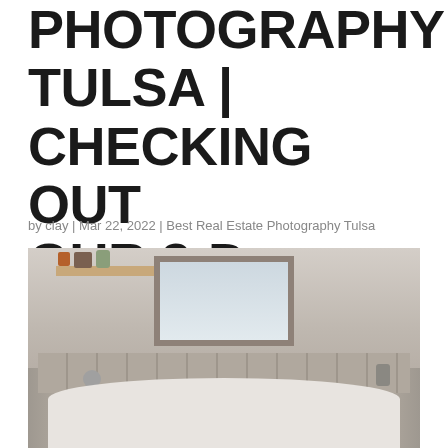PHOTOGRAPHY TULSA | CHECKING OUT OUR 3-D TOURS
by clay | Mar 22, 2022 | Best Real Estate Photography Tulsa
[Figure (photo): Interior bathroom photo showing a soaking tub from above, with a large window, floating wood shelves with decorative items, tile surround, chrome faucet, and decorative canister. Warm neutral tones throughout.]